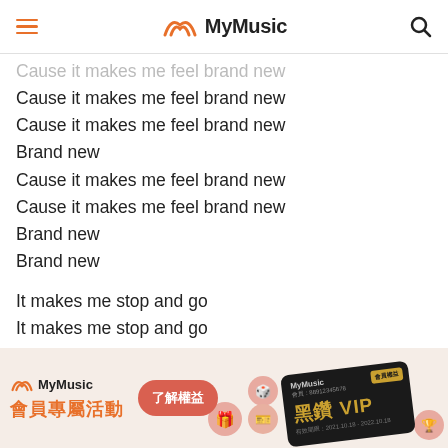MyMusic
Cause it makes me feel brand new
Cause it makes me feel brand new
Cause it makes me feel brand new
Brand new
Cause it makes me feel brand new
Cause it makes me feel brand new
Brand new
Brand new

It makes me stop and go
It makes me stop and go
It makes me stop and go
I know I'm not alone

It makes me stop and go
It makes me stop and go
No I'm not alone
No I'm not alone
[Figure (infographic): MyMusic VIP membership promotion banner with logo, Chinese text '會員專屬活動', a button '了解權益', decorative circle icons, and a black VIP card showing '黑鑽 VIP']